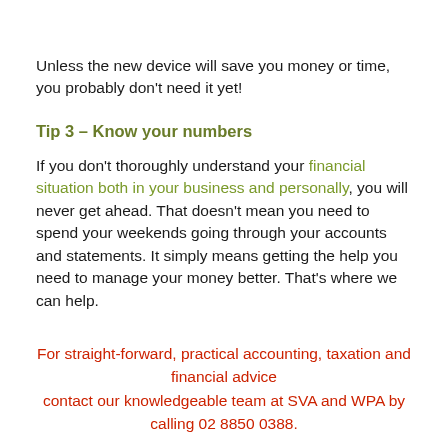Unless the new device will save you money or time, you probably don't need it yet!
Tip 3 – Know your numbers
If you don't thoroughly understand your financial situation both in your business and personally, you will never get ahead. That doesn't mean you need to spend your weekends going through your accounts and statements. It simply means getting the help you need to manage your money better. That's where we can help.
For straight-forward, practical accounting, taxation and financial advice contact our knowledgeable team at SVA and WPA by calling 02 8850 0388.